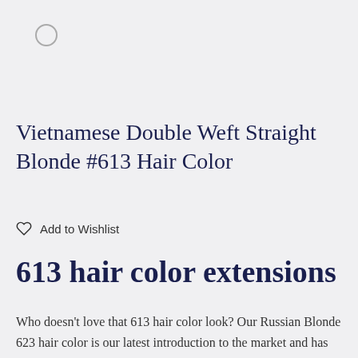[Figure (other): Loading spinner icon — a thin circle outline indicating content is loading]
Vietnamese Double Weft Straight Blonde #613 Hair Color
Add to Wishlist
613 hair color extensions
Who doesn't love that 613 hair color look? Our Russian Blonde 623 hair color is our latest introduction to the market and has been